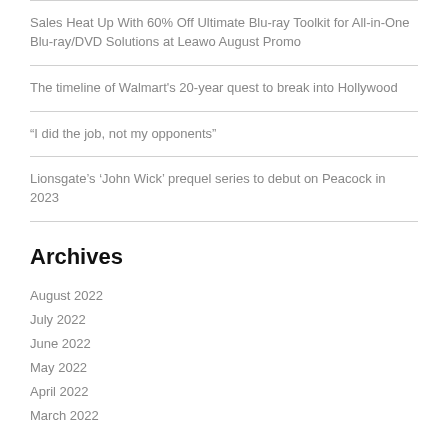Sales Heat Up With 60% Off Ultimate Blu-ray Toolkit for All-in-One Blu-ray/DVD Solutions at Leawo August Promo
The timeline of Walmart's 20-year quest to break into Hollywood
“I did the job, not my opponents”
Lionsgate’s ‘John Wick’ prequel series to debut on Peacock in 2023
Archives
August 2022
July 2022
June 2022
May 2022
April 2022
March 2022